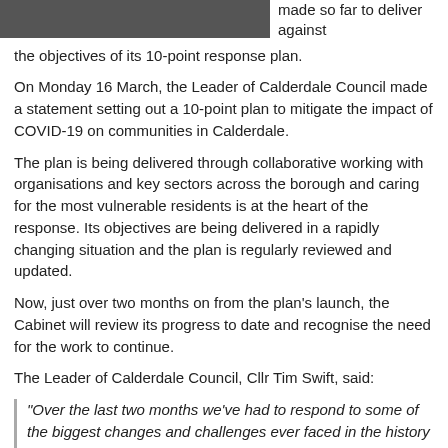[Figure (photo): Photo of a person in a suit with a red tie, cropped at the top of the page]
made so far to deliver against the objectives of its 10-point response plan.
On Monday 16 March, the Leader of Calderdale Council made a statement setting out a 10-point plan to mitigate the impact of COVID-19 on communities in Calderdale.
The plan is being delivered through collaborative working with organisations and key sectors across the borough and caring for the most vulnerable residents is at the heart of the response. Its objectives are being delivered in a rapidly changing situation and the plan is regularly reviewed and updated.
Now, just over two months on from the plan's launch, the Cabinet will review its progress to date and recognise the need for the work to continue.
The Leader of Calderdale Council, Cllr Tim Swift, said:
“Over the last two months we’ve had to respond to some of the biggest changes and challenges ever faced in the history of Calderdale Council.